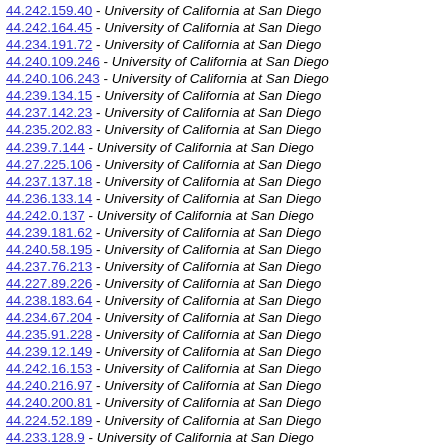44.242.159.40 - University of California at San Diego
44.242.164.45 - University of California at San Diego
44.234.191.72 - University of California at San Diego
44.240.109.246 - University of California at San Diego
44.240.106.243 - University of California at San Diego
44.239.134.15 - University of California at San Diego
44.237.142.23 - University of California at San Diego
44.235.202.83 - University of California at San Diego
44.239.7.144 - University of California at San Diego
44.27.225.106 - University of California at San Diego
44.237.137.18 - University of California at San Diego
44.236.133.14 - University of California at San Diego
44.242.0.137 - University of California at San Diego
44.239.181.62 - University of California at San Diego
44.240.58.195 - University of California at San Diego
44.237.76.213 - University of California at San Diego
44.227.89.226 - University of California at San Diego
44.238.183.64 - University of California at San Diego
44.234.67.204 - University of California at San Diego
44.235.91.228 - University of California at San Diego
44.239.12.149 - University of California at San Diego
44.242.16.153 - University of California at San Diego
44.240.216.97 - University of California at San Diego
44.240.200.81 - University of California at San Diego
44.224.52.189 - University of California at San Diego
44.233.128.9 - University of California at San Diego
44.227.71.208 - University of California at San Diego
44.241.247.128 - University of California at San Diego
44.230.85.222 - University of California at San Diego
44.225.136.17 - University of California at San Diego
44.233.224.140 - University of California at San Diego